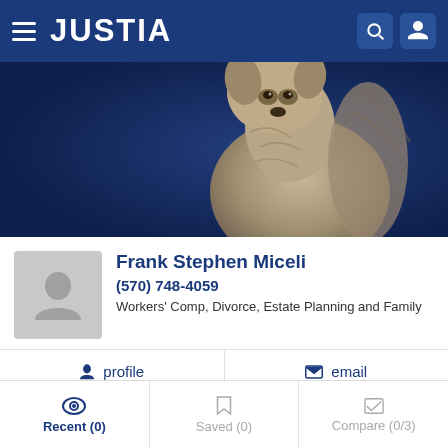JUSTIA
[Figure (photo): Dog (bear-like, fluffy, tan/grey) photographed against dark navy blue background, centered-right in banner image]
Frank Stephen Miceli
(570) 748-4059
Workers' Comp, Divorce, Estate Planning and Family
profile
email
Compare
Save
Alexander Palutis
Recent (0)    Saved (0)    Compare (0/3)